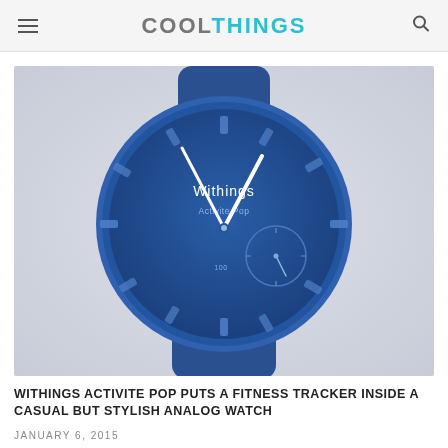COOLTHINGS
[Figure (photo): A blue Withings Activite Pop analog watch with a dark blue circular face showing the Withings logo and 'Activite Pop' text, white hour and minute hands, a smaller sub-dial, and a blue rubber strap, photographed on a light gray background.]
WITHINGS ACTIVITE POP PUTS A FITNESS TRACKER INSIDE A CASUAL BUT STYLISH ANALOG WATCH
JANUARY 6, 2015